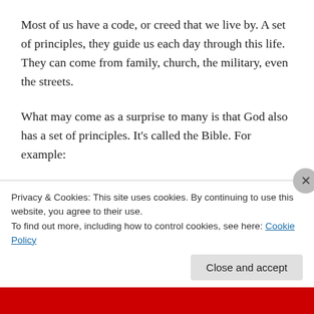Most of us have a code, or creed that we live by. A set of principles, they guide us each day through this life. They can come from family, church, the military, even the streets.
What may come as a surprise to many is that God also has a set of principles. It's called the Bible. For example:
But Jesus answered him, saying, “It is written, ‘Man shall not live by bread alone, but by every word of God.’
Privacy & Cookies: This site uses cookies. By continuing to use this website, you agree to their use.
To find out more, including how to control cookies, see here: Cookie Policy
Close and accept